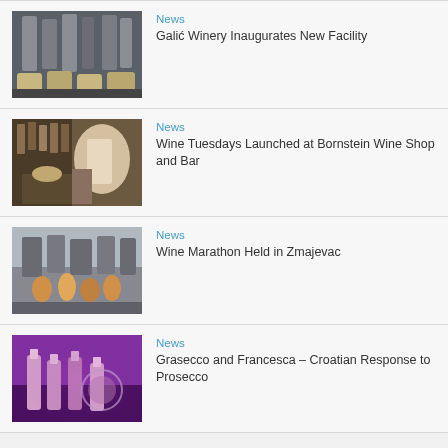[Figure (photo): Winery facility interior with barrels and industrial equipment]
News
Galić Winery Inaugurates New Facility
[Figure (photo): Man pouring wine at a wine bar event with guests]
News
Wine Tuesdays Launched at Bornstein Wine Shop and Bar
[Figure (photo): Crowd walking through a street wine marathon event in Zmajevac]
News
Wine Marathon Held in Zmajevac
[Figure (photo): Sparkling wine bottles lit with purple lighting]
News
Grasecco and Francesca – Croatian Response to Prosecco